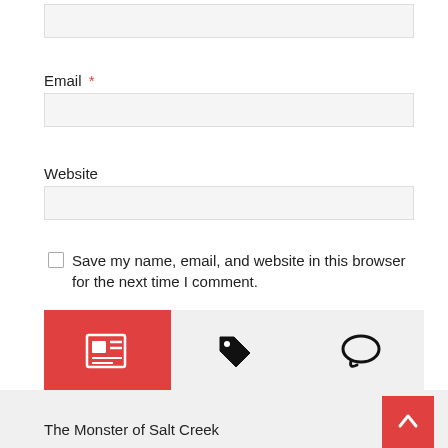Email *
Website
Save my name, email, and website in this browser for the next time I comment.
POST COMMENT
This site uses Akismet to reduce spam. Learn how your comment data is processed.
[Figure (other): Tab bar with three icons: newspaper/posts icon (active, red background), tag icon, and speech bubble icon]
The Monster of Salt Creek